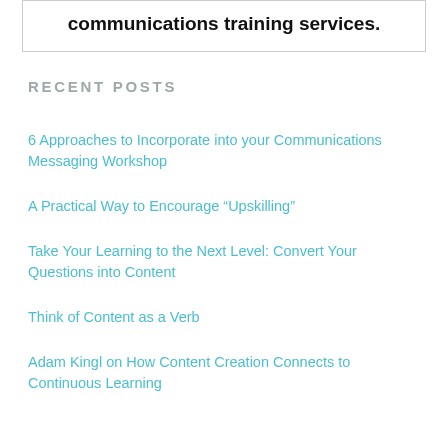communications training services.
RECENT POSTS
6 Approaches to Incorporate into your Communications Messaging Workshop
A Practical Way to Encourage “Upskilling”
Take Your Learning to the Next Level: Convert Your Questions into Content
Think of Content as a Verb
Adam Kingl on How Content Creation Connects to Continuous Learning